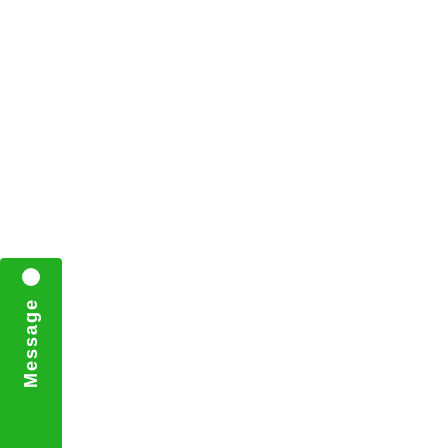Approved ISSN : 2349-5162 | Co...
JETIR DOI Member ID: 10.6084/m...
No of times Downloads: 002895...
Published Paper URL : https://ww...
Published Paper PDF : https://ww...
Available at : http://www.jetir.org/p...
A-Z OF SOL...
Authors: Dr. Vaish...
Registration ID...
Year : February-2021 | Volume: 8...
Approved ISSN...
JETIR DOI Mem...
No of times Do...
Published Pape...
Published Paper PDF : https://ww...
Available at : http://www.jetir.org/p...
[Figure (other): WhatsApp Contact Click Here overlay button in blue/purple]
[Figure (other): Contact Us Click Here overlay button in blue/purple]
[Figure (other): Green Message button on left side]
Shilajit -A Multipurpose Drug...
Authors: Pallavi T. Jadhav, Snehal S....
Registration ID : 305653 | Public...